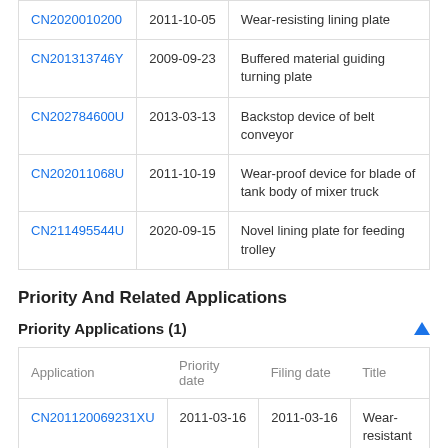|  |  |  |
| --- | --- | --- |
| CN2020010200 | 2011-10-05 | Wear-resisting lining plate |
| CN201313746Y | 2009-09-23 | Buffered material guiding turning plate |
| CN202784600U | 2013-03-13 | Backstop device of belt conveyor |
| CN202011068U | 2011-10-19 | Wear-proof device for blade of tank body of mixer truck |
| CN211495544U | 2020-09-15 | Novel lining plate for feeding trolley |
Priority And Related Applications
Priority Applications (1)
| Application | Priority date | Filing date | Title |
| --- | --- | --- | --- |
| CN2011200692 31XU | 2011-03-16 | 2011-03-16 | Wear-resistant device of feeding |